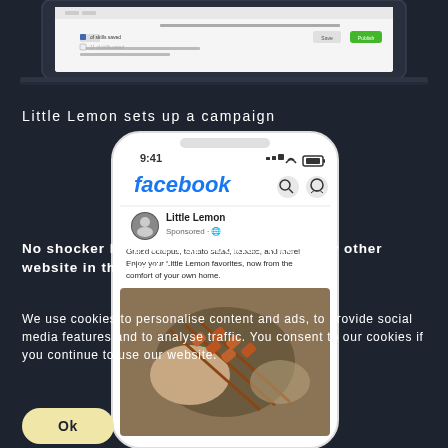[Figure (screenshot): Top portion of a laptop screen showing a Facebook Ads Manager or publishing interface with a green Publish button visible]
Little Lemon sets up a campaign
[Figure (screenshot): Mobile phone mockup showing Facebook app with a Little Lemon sponsored post. Post reads: Grilled octopus, tomato salad, kebabs, and more! Enjoy your Little Lemon favorites, now from the comfort of your own home. Below is a food photo showing skewers of grilled meat on a plate.]
No shocker here, we use cookies like every other website in the world.
We use cookies to personalise content and ads, to provide social media features and to analyse traffic. You consent to our cookies if you continue to use our website.
Ok